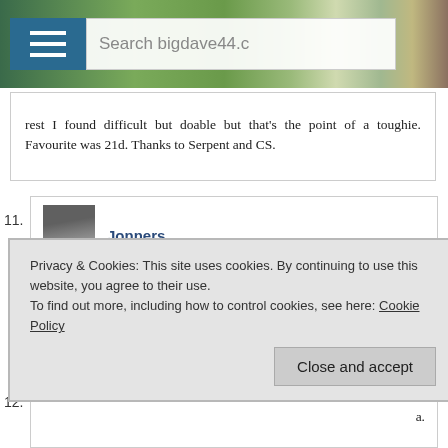[Figure (screenshot): Website header banner with hamburger menu icon, landscape photo background, and search box showing 'Search bigdave44.c']
rest I found difficult but doable but that's the point of a toughie. Favourite was 21d. Thanks to Serpent and CS.
11. Jonners
February 9, 2022 at 3:46 pm
Very enjoyable. A case of saving the best until last, my favourites were 20d and 21d. Thanks to Serpent and CS.
Privacy & Cookies: This site uses cookies. By continuing to use this website, you agree to their use.
To find out more, including how to control cookies, see here: Cookie Policy
Close and accept
12. a.